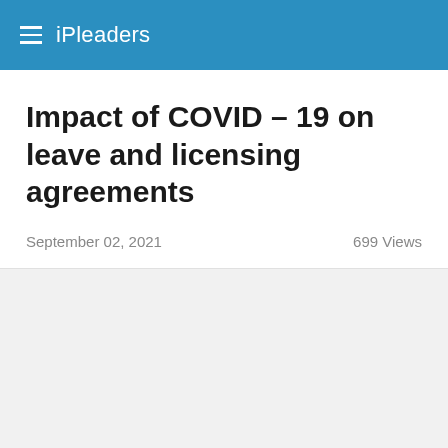iPleaders
Impact of COVID – 19 on leave and licensing agreements
September 02, 2021
699 Views